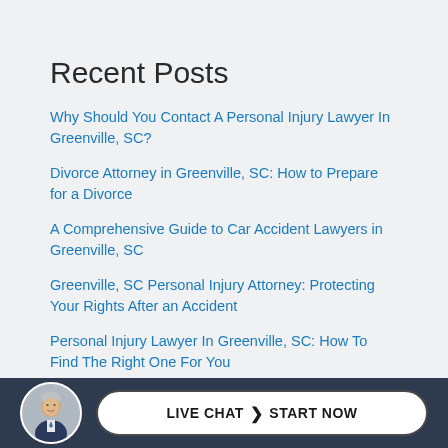Recent Posts
Why Should You Contact A Personal Injury Lawyer In Greenville, SC?
Divorce Attorney in Greenville, SC: How to Prepare for a Divorce
A Comprehensive Guide to Car Accident Lawyers in Greenville, SC
Greenville, SC Personal Injury Attorney: Protecting Your Rights After an Accident
Personal Injury Lawyer In Greenville, SC: How To Find The Right One For You
[Figure (photo): Circular avatar photo of an older man in a suit, used as a live chat representative image]
LIVE CHAT  START NOW